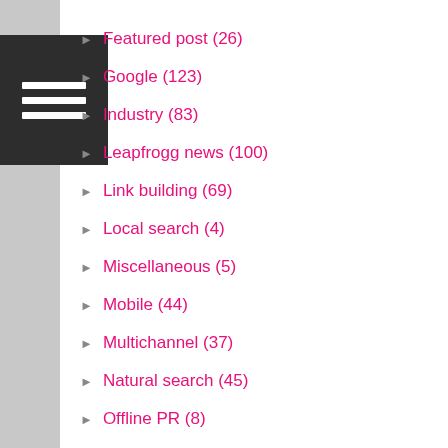Featured post (26)
Google (123)
Industry (83)
Leapfrogg news (100)
Link building (69)
Local search (4)
Miscellaneous (5)
Mobile (44)
Multichannel (37)
Natural search (45)
Offline PR (8)
Online PR (26)
Online retail strategy (106)